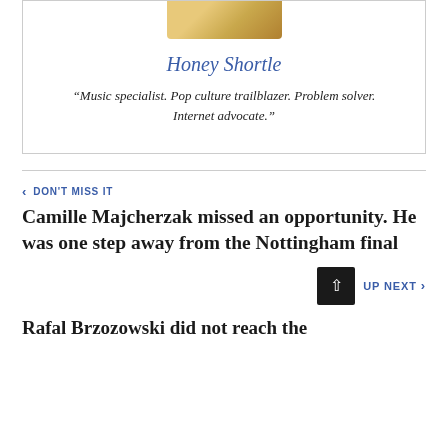[Figure (photo): Partial photo of a person with blonde hair, cropped at top]
Honey Shortle
“Music specialist. Pop culture trailblazer. Problem solver. Internet advocate.”
DON'T MISS IT
Camille Majcherzak missed an opportunity. He was one step away from the Nottingham final
UP NEXT
Rafal Brzozowski did not reach the